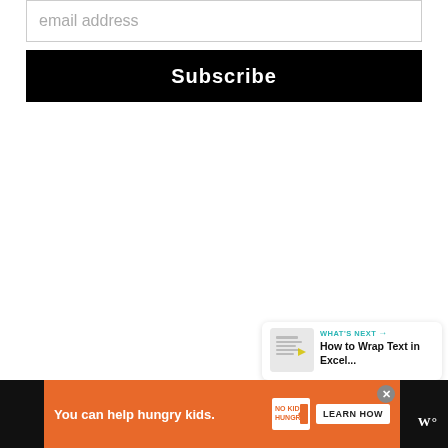email address
Subscribe
[Figure (other): Heart/favorite button (teal circle with white heart icon)]
[Figure (other): Share button (white circle with share icon)]
WHAT'S NEXT → How to Wrap Text in Excel...
You can help hungry kids. NO KID HUNGRY LEARN HOW